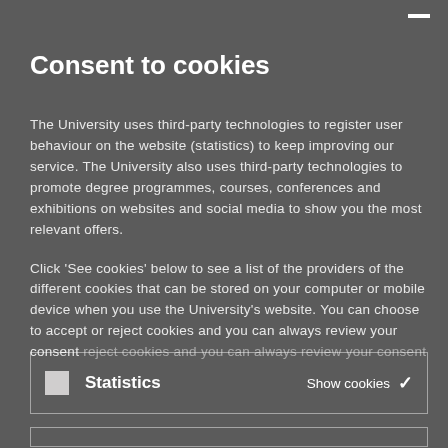Consent to cookies
The University uses third-party technologies to register user behaviour on the website (statistics) to keep improving our service. The University also uses third-party technologies to promote degree programmes, courses, conferences and exhibitions on websites and social media to show you the most relevant offers.

Click 'See cookies' below to see a list of the providers of the different cookies that can be stored on your computer or mobile device when you use the University's website. You can choose to accept or reject cookies and you can always review your consent
Statistics  Show cookies ✓